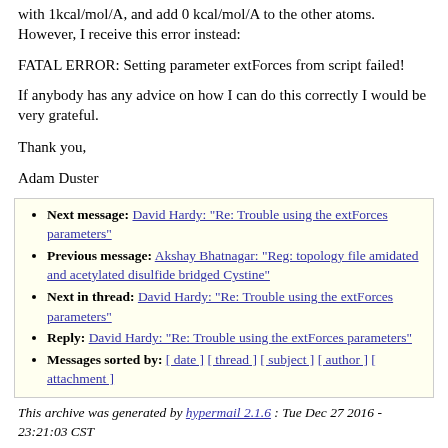with 1kcal/mol/A, and add 0 kcal/mol/A to the other atoms. However, I receive this error instead:
FATAL ERROR: Setting parameter extForces from script failed!
If anybody has any advice on how I can do this correctly I would be very grateful.
Thank you,
Adam Duster
Next message: David Hardy: "Re: Trouble using the extForces parameters"
Previous message: Akshay Bhatnagar: "Reg: topology file amidated and acetylated disulfide bridged Cystine"
Next in thread: David Hardy: "Re: Trouble using the extForces parameters"
Reply: David Hardy: "Re: Trouble using the extForces parameters"
Messages sorted by: [ date ] [ thread ] [ subject ] [ author ] [ attachment ]
This archive was generated by hypermail 2.1.6 : Tue Dec 27 2016 - 23:21:03 CST